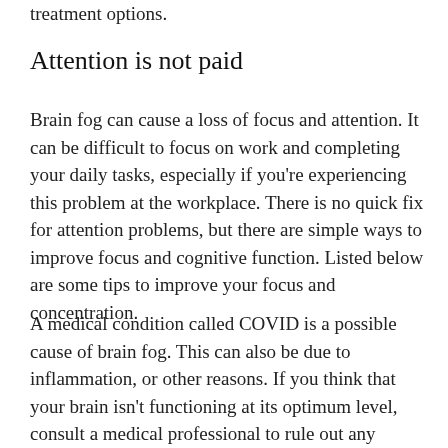treatment options.
Attention is not paid
Brain fog can cause a loss of focus and attention. It can be difficult to focus on work and completing your daily tasks, especially if you're experiencing this problem at the workplace. There is no quick fix for attention problems, but there are simple ways to improve focus and cognitive function. Listed below are some tips to improve your focus and concentration.
A medical condition called COVID is a possible cause of brain fog. This can also be due to inflammation, or other reasons. If you think that your brain isn't functioning at its optimum level, consult a medical professional to rule out any